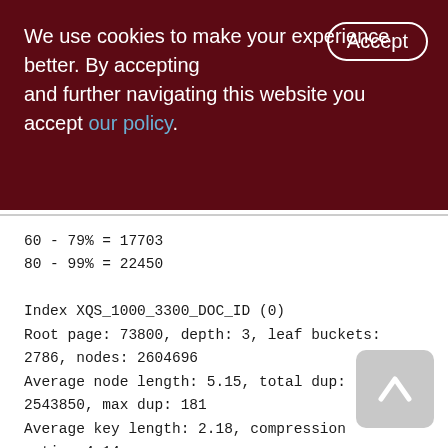We use cookies to make your experience better. By accepting and further navigating this website you accept our policy.
60 - 79% = 17703
80 - 99% = 22450

Index XQS_1000_3300_DOC_ID (0)
Root page: 73800, depth: 3, leaf buckets: 2786, nodes: 2604696
Average node length: 5.15, total dup: 2543850, max dup: 181
Average key length: 2.18, compression ratio: 4.14
Average prefix length: 8.85, average data length: 0.15